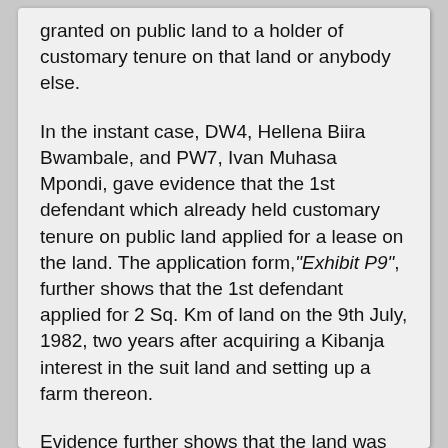granted on public land to a holder of customary tenure on that land or anybody else.
In the instant case, DW4, Hellena Biira Bwambale, and PW7, Ivan Muhasa Mpondi, gave evidence that the 1st defendant which already held customary tenure on public land applied for a lease on the land. The application form, "Exhibit P9", further shows that the 1st defendant applied for 2 Sq. Km of land on the 9th July, 1982, two years after acquiring a Kibanja interest in the suit land and setting up a farm thereon.
Evidence further shows that the land was inspected by the District Land Committee in the presence of the then sub county chief, one Asuman Bwambale, the then parish chief, one Erinesti Kigoma, the then chairman of The Abalisa Kyotorana, one Muguta G. Mandro, and